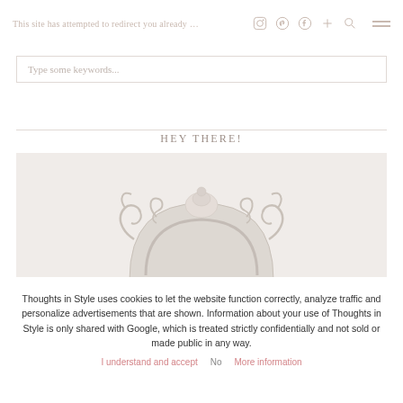Thoughts in Style · social icons · menu
Type some keywords...
HEY THERE!
[Figure (photo): Top half of an ornate white baroque/rococo decorative mirror frame on a light background]
Thoughts in Style uses cookies to let the website function correctly, analyze traffic and personalize advertisements that are shown. Information about your use of Thoughts in Style is only shared with Google, which is treated strictly confidentially and not sold or made public in any way.
I understand and accept   No   More information